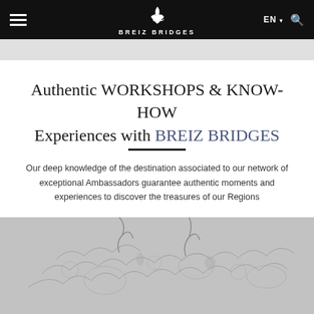BREIZ BRIDGES — EN navigation
Authentic WORKSHOPS & KNOW-HOW Experiences with BREIZ BRIDGES
Our deep knowledge of the destination associated to our network of exceptional Ambassadors guarantee authentic moments and experiences to discover the treasures of our Regions
[Figure (photo): Close-up photo of intricate lacework or textile craftsmanship in grey/white tones, partially visible at the bottom of the page]